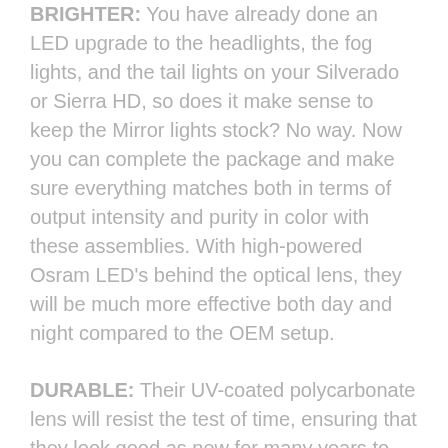BRIGHTER: You have already done an LED upgrade to the headlights, the fog lights, and the tail lights on your Silverado or Sierra HD, so does it make sense to keep the Mirror lights stock? No way. Now you can complete the package and make sure everything matches both in terms of output intensity and purity in color with these assemblies. With high-powered Osram LED's behind the optical lens, they will be much more effective both day and night compared to the OEM setup.
DURABLE: Their UV-coated polycarbonate lens will resist the test of time, ensuring that they look good as new for many years to come. To save on cost, the cheap alternatives do not use a UV-coated PC lens and that will become obvious, quickly. We've seen them fade within a matter of months. Spend a few bucks more now, save yourself the hassle of swapping out later.